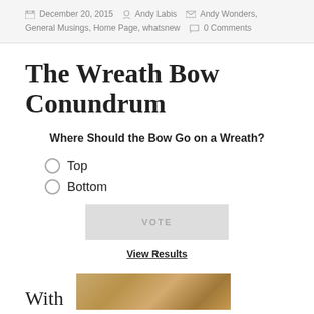December 20, 2015  Andy Labis  Andy Wonders, General Musings, Home Page, whatsnew  0 Comments
The Wreath Bow Conundrum
Where Should the Bow Go on a Wreath?
Top
Bottom
[Figure (other): VOTE button (poll widget)]
View Results
With
[Figure (photo): Wooden surface photo at bottom of page]